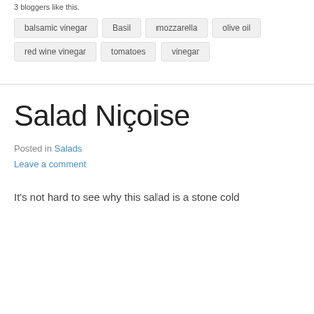3 bloggers like this.
balsamic vinegar
Basil
mozzarella
olive oil
red wine vinegar
tomatoes
vinegar
Salad Niçoise
Posted in Salads
Leave a comment
It's not hard to see why this salad is a stone cold